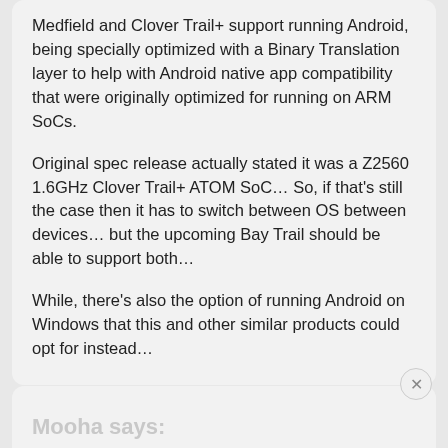Medfield and Clover Trail+ support running Android, being specially optimized with a Binary Translation layer to help with Android native app compatibility that were originally optimized for running on ARM SoCs.
Original spec release actually stated it was a Z2560 1.6GHz Clover Trail+ ATOM SoC… So, if that's still the case then it has to switch between OS between devices… but the upcoming Bay Trail should be able to support both…
While, there's also the option of running Android on Windows that this and other similar products could opt for instead…